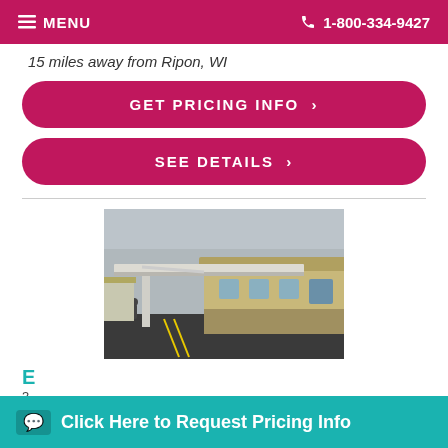≡ MENU   📞 1-800-334-9427
15 miles away from Ripon, WI
GET PRICING INFO ›
SEE DETAILS ›
[Figure (photo): Exterior photo of a care facility building with a covered entrance canopy, stone facade, and parking lot]
E...
3...
💬 Click Here to Request Pricing Info